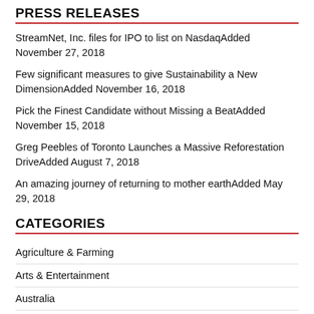PRESS RELEASES
StreamNet, Inc. files for IPO to list on NasdaqAdded November 27, 2018
Few significant measures to give Sustainability a New DimensionAdded November 16, 2018
Pick the Finest Candidate without Missing a BeatAdded November 15, 2018
Greg Peebles of Toronto Launches a Massive Reforestation DriveAdded August 7, 2018
An amazing journey of returning to mother earthAdded May 29, 2018
CATEGORIES
Agriculture & Farming
Arts & Entertainment
Australia
Automotive